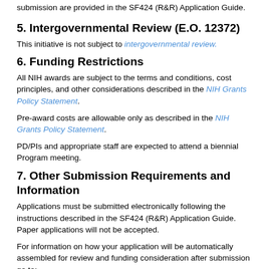submission are provided in the SF424 (R&R) Application Guide.
5. Intergovernmental Review (E.O. 12372)
This initiative is not subject to intergovernmental review.
6. Funding Restrictions
All NIH awards are subject to the terms and conditions, cost principles, and other considerations described in the NIH Grants Policy Statement.
Pre-award costs are allowable only as described in the NIH Grants Policy Statement.
PD/PIs and appropriate staff are expected to attend a biennial Program meeting.
7. Other Submission Requirements and Information
Applications must be submitted electronically following the instructions described in the SF424 (R&R) Application Guide. Paper applications will not be accepted.
For information on how your application will be automatically assembled for review and funding consideration after submission go to: http://grants.nih.gov/grants/ElectronicReceipt/files/Electronic_Multi-project_Application_Image_Assembly.pdf